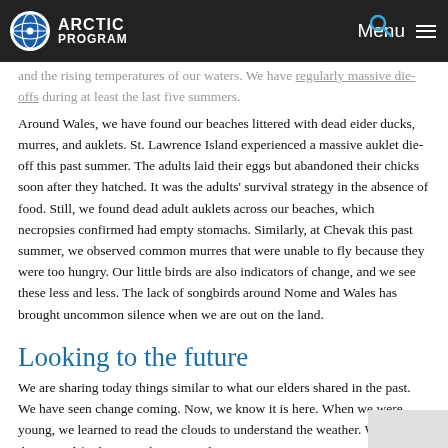ARCTIC PROGRAM | Menu
and the rising temperatures of our waters. We have regularly massive die-offs during at least the last five summers.
Around Wales, we have found our beaches littered with dead eider ducks, murres, and auklets. St. Lawrence Island experienced a massive auklet die-off this past summer. The adults laid their eggs but abandoned their chicks soon after they hatched. It was the adults' survival strategy in the absence of food. Still, we found dead adult auklets across our beaches, which necropsies confirmed had empty stomachs. Similarly, at Chevak this past summer, we observed common murres that were unable to fly because they were too hungry. Our little birds are also indicators of change, and we see these less and less. The lack of songbirds around Nome and Wales has brought uncommon silence when we are out on the land.
Looking to the future
We are sharing today things similar to what our elders shared in the past. We have seen change coming. Now, we know it is here. When we were young, we learned to read the clouds to understand the weather. We laid on the ground for hours with our grandparents,